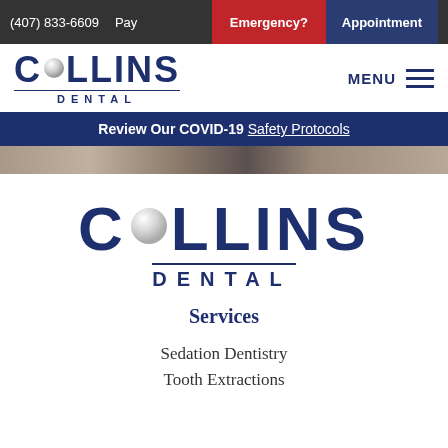(407) 833-6609  Pay  Emergency?  Appointment
[Figure (logo): Collins Dental logo with tooth/ball replacing the O in COLLINS, with DENTAL below]
Review Our COVID-19 Safety Protocols
[Figure (photo): Hero image strip showing dental office interior]
[Figure (logo): Collins Dental large logo with tooth/ball replacing the O in COLLINS, with DENTAL below]
Services
Sedation Dentistry
Tooth Extractions